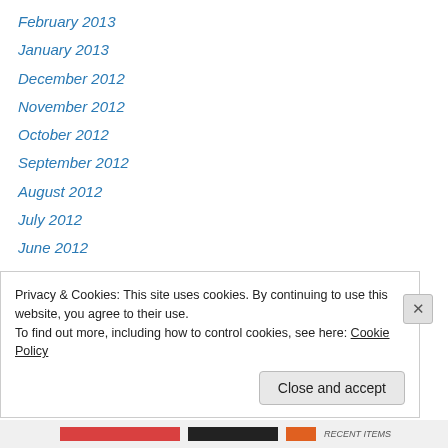February 2013
January 2013
December 2012
November 2012
October 2012
September 2012
August 2012
July 2012
June 2012
May 2012
April 2012
March 2012
February 2012
Privacy & Cookies: This site uses cookies. By continuing to use this website, you agree to their use. To find out more, including how to control cookies, see here: Cookie Policy
Close and accept